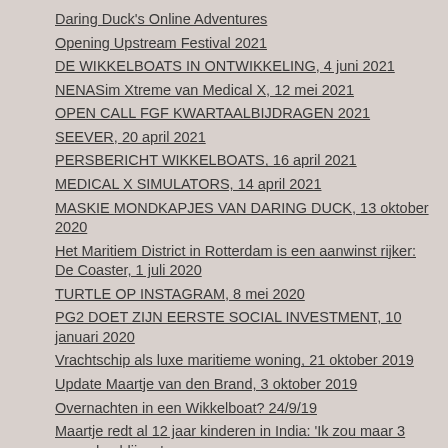Daring Duck's Online Adventures
Opening Upstream Festival 2021
DE WIKKELBOATS IN ONTWIKKELING, 4 juni 2021
NENASim Xtreme van Medical X, 12 mei 2021
OPEN CALL FGF KWARTAALBIJDRAGEN 2021
SEEVER, 20 april 2021
PERSBERICHT WIKKELBOATS, 16 april 2021
MEDICAL X SIMULATORS, 14 april 2021
MASKIE MONDKAPJES VAN DARING DUCK, 13 oktober 2020
Het Maritiem District in Rotterdam is een aanwinst rijker: De Coaster, 1 juli 2020
TURTLE OP INSTAGRAM, 8 mei 2020
PG2 DOET ZIJN EERSTE SOCIAL INVESTMENT, 10 januari 2020
Vrachtschip als luxe maritieme woning, 21 oktober 2019
Update Maartje van den Brand, 3 oktober 2019
Overnachten in een Wikkelboat? 24/9/19
Maartje redt al 12 jaar kinderen in India: 'Ik zou maar 3 maanden blijven'
Traditionele zeiliunk Daring Duck, 25 juli 2019